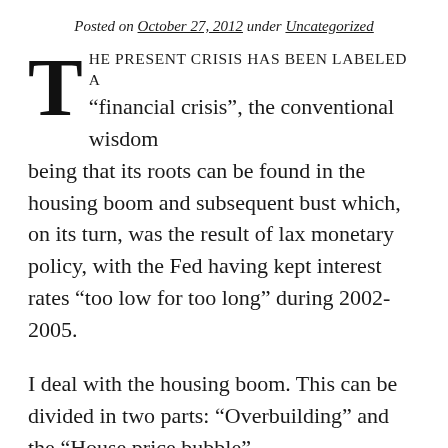Posted on October 27, 2012 under Uncategorized
THE PRESENT CRISIS HAS BEEN LABELED A “financial crisis”, the conventional wisdom being that its roots can be found in the housing boom and subsequent bust which, on its turn, was the result of lax monetary policy, with the Fed having kept interest rates “too low for too long” during 2002-2005.
I deal with the housing boom. This can be divided in two parts: “Overbuilding” and the “House price bubble”.